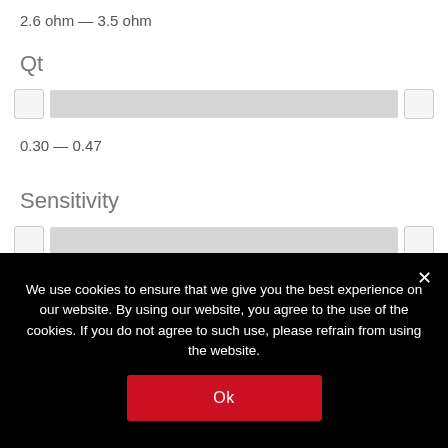2.6 ohm — 3.5 ohm
Qt
[Figure (other): Range slider control for Qt parameter, fully at minimum position]
0.30 — 0.47
Sensitivity
[Figure (other): Range slider control for Sensitivity parameter, fully at minimum position]
82.0 dB — 90.0 dB
We use cookies to ensure that we give you the best experience on our website. By using our website, you agree to the use of the cookies. If you do not agree to such use, please refrain from using the website.